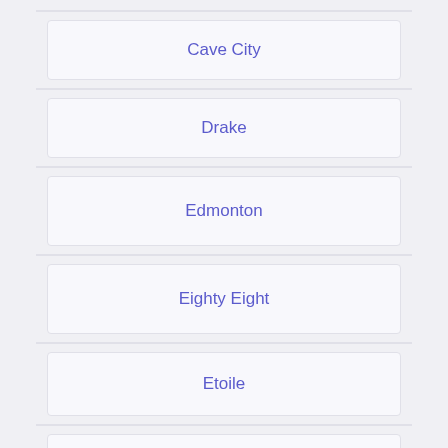Cave City
Drake
Edmonton
Eighty Eight
Etoile
Fountain Run